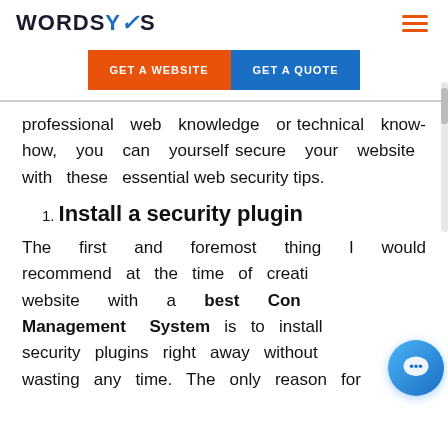WORDSYS
GET A WEBSITE   GET A QUOTE
professional web knowledge or technical know-how, you can yourself secure your website with these essential web security tips.
1. Install a security plugin
The first and foremost thing I would recommend at the time of creating a website with a best Content Management System is to install security plugins right away without wasting any time. The only reason for